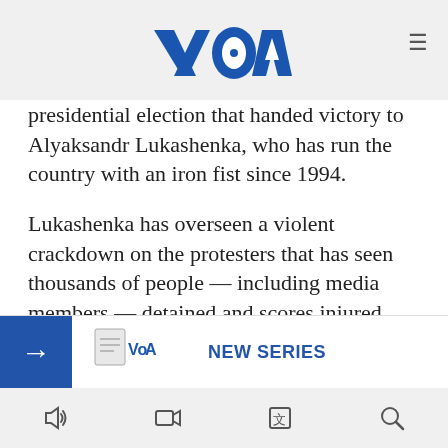[Figure (logo): VOA (Voice of America) logo in blue with hamburger menu icon]
presidential election that handed victory to Alyaksandr Lukashenka, who has run the country with an iron fist since 1994.
Lukashenka has overseen a violent crackdown on the protesters that has seen thousands of people — including media members — detained and scores injured.
Overall, more than 1,800 criminal cases have been launched against protesters, who say the vote was rigged and that Tsikhanouskaya was the real winner.
Tsikhanouskaya was c… impeding the work of…
[Figure (screenshot): Ad banner overlay with blue arrow button, VOA logo, and NEW SERIES text]
Bottom navigation bar with audio, video, language, and search icons